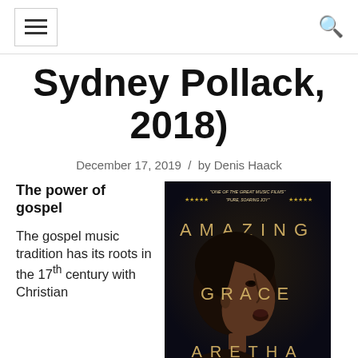☰  🔍
Sydney Pollack, 2018)
December 17, 2019 / by Denis Haack
The power of gospel
The gospel music tradition has its roots in the 17th century with Christian
[Figure (photo): Movie poster for Amazing Grace (Aretha Franklin documentary). Text reads: 'One of the great music films' ★★★★★ 'Pure, soaring joy' ★★★★★. Large text: AMAZING GRACE ARETHA. Shows a profile of Aretha Franklin singing.]